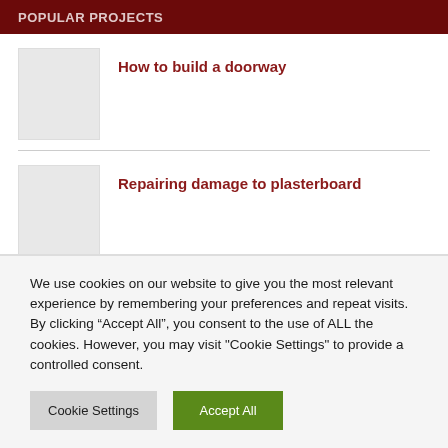POPULAR PROJECTS
How to build a doorway
Repairing damage to plasterboard
We use cookies on our website to give you the most relevant experience by remembering your preferences and repeat visits. By clicking “Accept All”, you consent to the use of ALL the cookies. However, you may visit "Cookie Settings" to provide a controlled consent.
Cookie Settings
Accept All